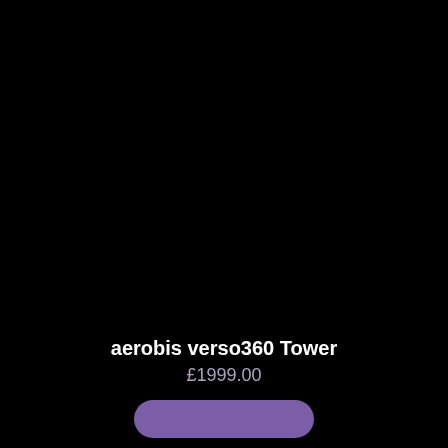[Figure (photo): Dark/black background product image of aerobis verso360 Tower fitness equipment, mostly not visible against the black background]
aerobis verso360 Tower
£1999.00